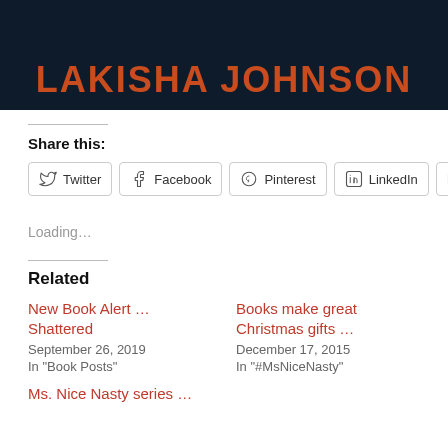[Figure (illustration): Dark navy background banner with author name LAKISHA JOHNSON in large bold orange/red uppercase letters]
Share this:
Twitter  Facebook  Pinterest  LinkedIn  Email
Loading...
Related
New Book Alert … Shattered
September 26, 2019
In "Book Posts"
Books make great Christmas gifts …
December 17, 2015
In "#MsNiceNasty"
Ms. Nice Nasty series …